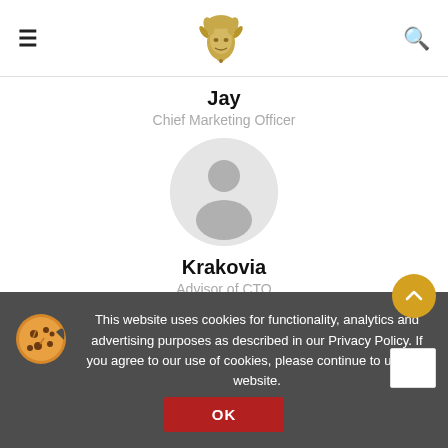≡  [logo]  🔍
Jay
Chief Marketing Officer
[Figure (illustration): Circular avatar placeholder with gray silhouette of a person on light gray background]
Krakovia
Advisor of CTO
Social media
This website uses cookies for functionality, analytics and advertising purposes as described in our Privacy Policy. If you agree to our use of cookies, please continue to use our website.